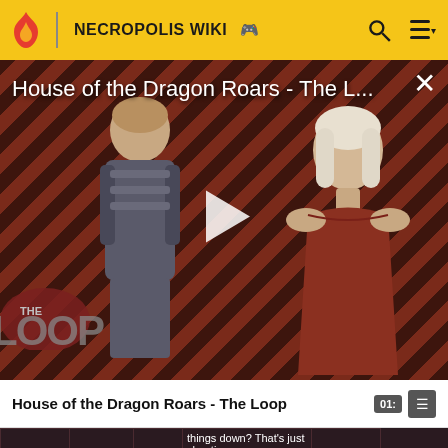NECROPOLIS WIKI
[Figure (screenshot): Video thumbnail for 'House of the Dragon Roars - The L...' showing two characters from House of the Dragon TV show against a diagonal striped background, with a play button in the center and 'THE LOOP' logo at bottom left]
House of the Dragon Roars - The Loop
|  |  |  | things down? That's just cheating. |  |
| --- | --- | --- | --- | --- |
|  | King's | 4 | 3000 | Interestingly, | Ultr |